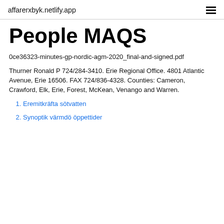affarerxbyk.netlify.app
People MAQS
0ce36323-minutes-gp-nordic-agm-2020_final-and-signed.pdf
Thurner Ronald P 724/284-3410. Erie Regional Office. 4801 Atlantic Avenue, Erie 16506. FAX 724/836-4328. Counties: Cameron, Crawford, Elk, Erie, Forest, McKean, Venango and Warren.
1. Eremitkräfta sötvatten
2. Synoptik värmdö öppettider